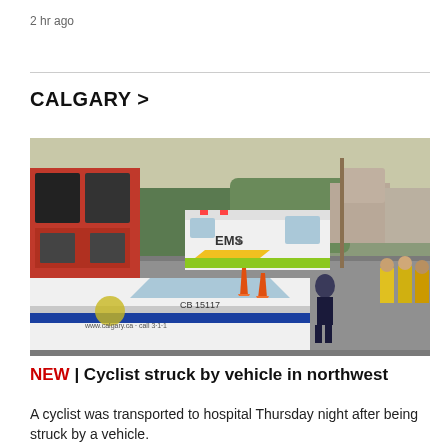2 hr ago
CALGARY >
[Figure (photo): Street scene showing a Calgary Police Service vehicle (CB 15117, www.calgary.ca call 3-1-1) in the foreground, an EMS ambulance in the background, traffic cones, a police officer standing on the road, and emergency personnel in high-vis vests on the right side. Trees and residential buildings visible in the background.]
NEW | Cyclist struck by vehicle in northwest
A cyclist was transported to hospital Thursday night after being struck by a vehicle.